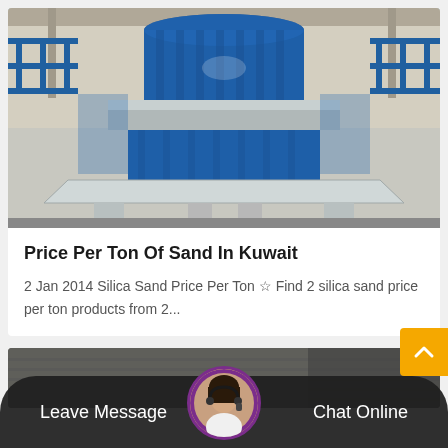[Figure (photo): Large blue industrial sand crusher/VSI machine on a factory floor with blue metal railings and grating in the background]
Price Per Ton Of Sand In Kuwait
2 Jan 2014 Silica Sand Price Per Ton ☆ Find 2 silica sand price per ton products from 2...
[Figure (photo): Partial view of another industrial machine, darkened]
Leave Message
Chat Online